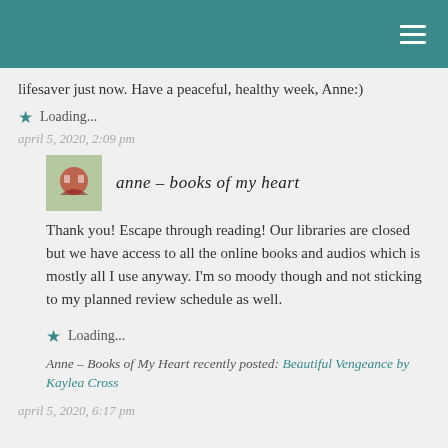[navigation bar with hamburger menu]
lifesaver just now. Have a peaceful, healthy week, Anne:)
★ Loading...
april 5, 2020, 2:09 pm
anne – books of my heart
Thank you! Escape through reading! Our libraries are closed but we have access to all the online books and audios which is mostly all I use anyway. I'm so moody though and not sticking to my planned review schedule as well.
★ Loading...
Anne – Books of My Heart recently posted: Beautiful Vengeance by Kaylea Cross
april 5, 2020, 6:17 pm